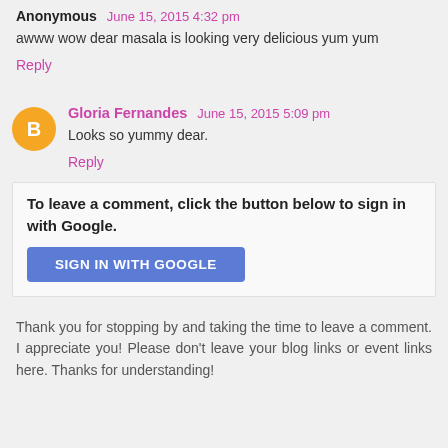Anonymous June 15, 2015 4:32 pm
awww wow dear masala is looking very delicious yum yum
Reply
Gloria Fernandes June 15, 2015 5:09 pm
Looks so yummy dear.
Reply
To leave a comment, click the button below to sign in with Google.
[Figure (screenshot): Blue button labeled SIGN IN WITH GOOGLE]
Thank you for stopping by and taking the time to leave a comment. I appreciate you! Please don't leave your blog links or event links here. Thanks for understanding!